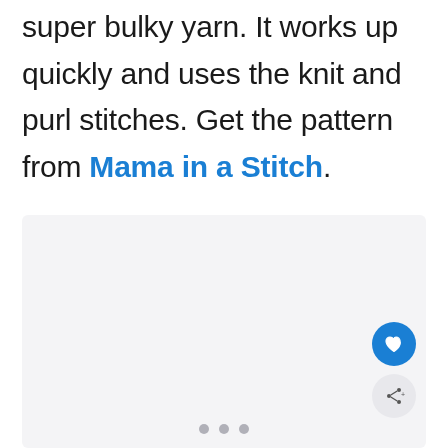super bulky yarn. It works up quickly and uses the knit and purl stitches. Get the pattern from Mama in a Stitch.
[Figure (other): A light gray placeholder image area with pagination dots at the bottom, a blue heart/favorite button and a gray share button overlaid on the lower right corner.]